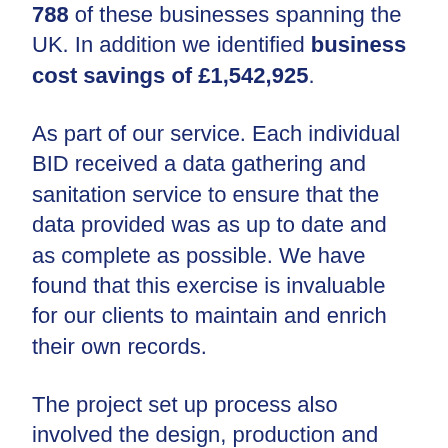788 of these businesses spanning the UK. In addition we identified business cost savings of £1,542,925.
As part of our service. Each individual BID received a data gathering and sanitation service to ensure that the data provided was as up to date and as complete as possible. We have found that this exercise is invaluable for our clients to maintain and enrich their own records.
The project set up process also involved the design, production and printing of leaflets and/or brochures to be presented to businesses. Along with digital marketing material for use by the client in publications and